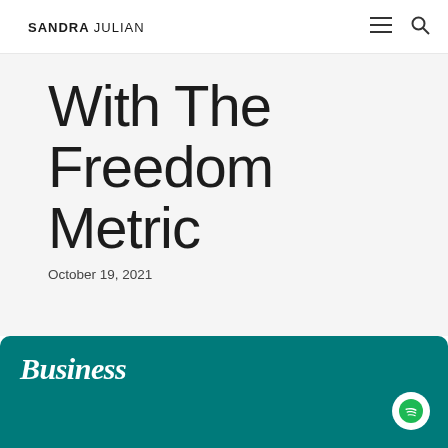SANDRA JULIAN
With The Freedom Metric
October 19, 2021
[Figure (other): Teal podcast card with 'Business' text in white serif font and Spotify logo badge in white circle on right]